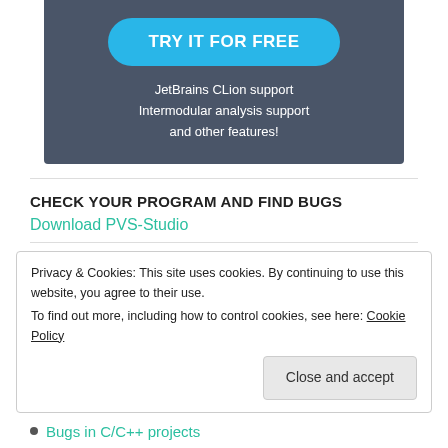[Figure (other): Promotional banner with dark grey background, cyan 'TRY IT FOR FREE' button, and white text describing JetBrains CLion support, Intermodular analysis support and other features.]
CHECK YOUR PROGRAM AND FIND BUGS
Download PVS-Studio
Privacy & Cookies: This site uses cookies. By continuing to use this website, you agree to their use.
To find out more, including how to control cookies, see here: Cookie Policy
Close and accept
Bugs in C/C++ projects